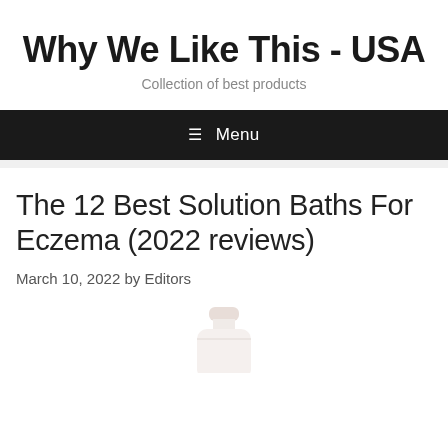Why We Like This - USA
Collection of best products
≡ Menu
The 12 Best Solution Baths For Eczema (2022 reviews)
March 10, 2022 by Editors
[Figure (photo): Product bottle partially visible at bottom of page]